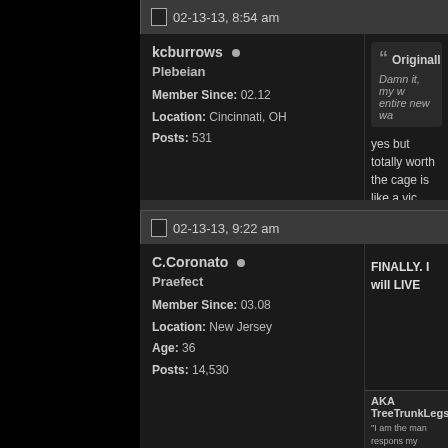02-13-13, 8:54 am
kcburrows • Plebeian Member Since: 02.12 Location: Cincinnati, OH Posts: 531
Originally posted... Damn it, my w... entire new wa... yes but totally worth... the cage is like a vic... then, and i buy a tor...
02-13-13, 9:22 am
C.Coronato • Praefect Member Since: 03.08 Location: New Jersey Age: 36 Posts: 14,530
FINALLY. I will LIVE
AKA TreeTrunkLegs "I am the man respons... my creator in the eyes... accountable for what I... man and my only critic... in my size thirteens. "